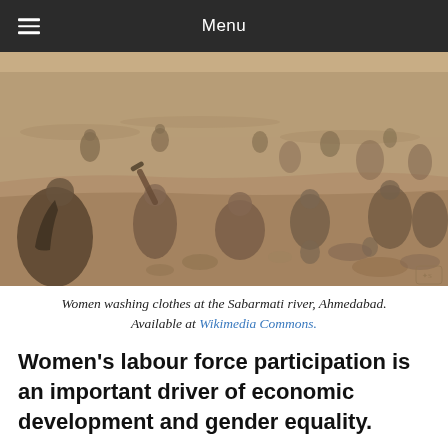Menu
[Figure (photo): Historical black and white sepia photograph of women washing clothes at the Sabarmati river in Ahmedabad. Several figures are gathered at the river bank, some washing laundry, some wading in the water, with clothing and pots visible on the ground.]
Women washing clothes at the Sabarmati river, Ahmedabad. Available at Wikimedia Commons.
Women’s labour force participation is an important driver of economic development and gender equality.